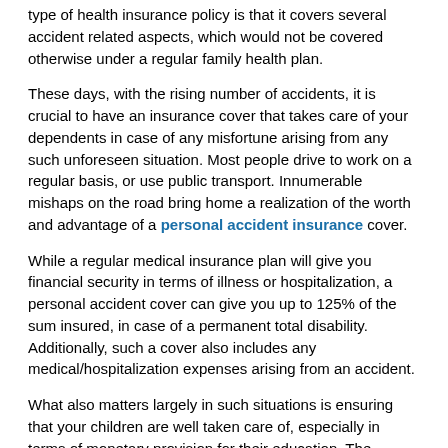type of health insurance policy is that it covers several accident related aspects, which would not be covered otherwise under a regular family health plan.
These days, with the rising number of accidents, it is crucial to have an insurance cover that takes care of your dependents in case of any misfortune arising from any such unforeseen situation. Most people drive to work on a regular basis, or use public transport. Innumerable mishaps on the road bring home a realization of the worth and advantage of a personal accident insurance cover.
While a regular medical insurance plan will give you financial security in terms of illness or hospitalization, a personal accident cover can give you up to 125% of the sum insured, in case of a permanent total disability. Additionally, such a cover also includes any medical/hospitalization expenses arising from an accident.
What also matters largely in such situations is ensuring that your children are well taken care of, especially in terms of monetary provision for their education. The personal accident cover provides the dependents of the policyholder with a special bonus for children's education. This feature covers up to a certain amount/percentage of their education, thus making it a